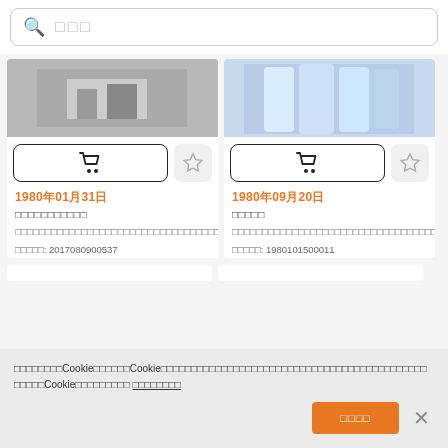[Figure (screenshot): Search bar with magnifying glass icon and placeholder text in CJK characters]
[Figure (screenshot): Left product card showing grayscale image of sewing/manufacturing scene, cart and star buttons, date 1980年01月31日, product title and description in CJK, ID: 2017080900537]
[Figure (screenshot): Right product card showing light blue clothing/dress image, cart and star buttons, date 1980年09月20日, product title and description in CJK, ID: 1980101500011]
Cookie notice bar with accept button and close button